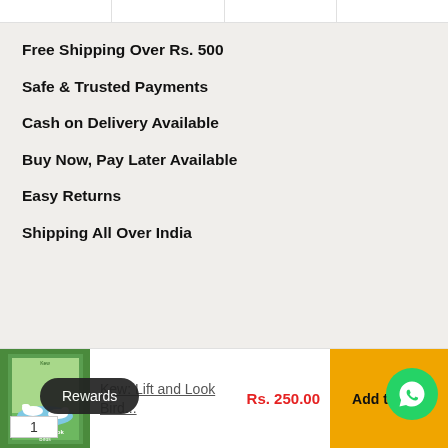[Figure (other): Top strip with four product image placeholder cells with borders]
Free Shipping Over Rs. 500
Safe & Trusted Payments
Cash on Delivery Available
Buy Now, Pay Later Available
Easy Returns
Shipping All Over India
[Figure (photo): Book cover thumbnail for Kew: Lift and Look Birds]
Kew: Lift and Look Bird...
Rs. 250.00
Add to cart
Rewards
1